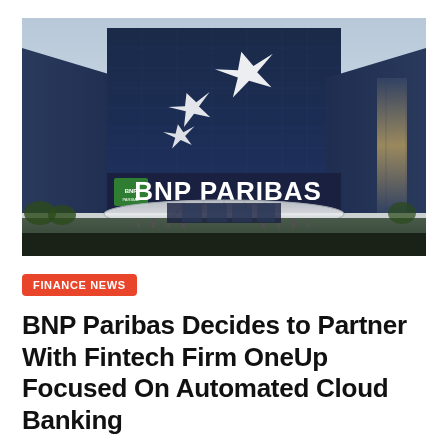[Figure (photo): Exterior photograph of the BNP Paribas headquarters building. A large modern glass office building with the BNP Paribas logo and three white star/arrow shapes on the facade.]
FINANCE NEWS
BNP Paribas Decides to Partner With Fintech Firm OneUp Focused On Automated Cloud Banking